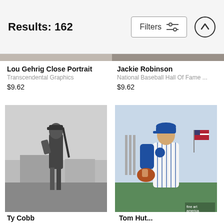Results: 162
Lou Gehrig Close Portrait
Transcendental Graphics
$9.62
Jackie Robinson
National Baseball Hall Of Fame ...
$9.62
[Figure (photo): Black and white photo of a baseball player holding a bat, standing on a field]
[Figure (photo): Color photo of a New York Mets pitcher in uniform holding a glove, standing on a baseball field with an American flag visible]
Ty Cobb
Tom Hut...